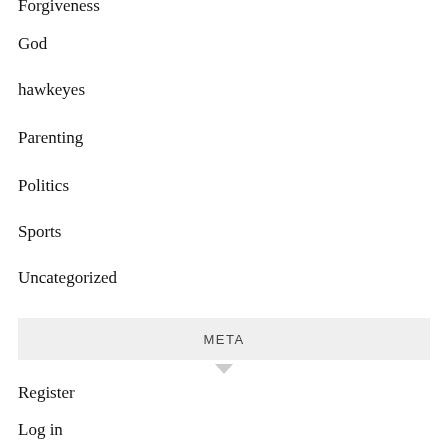Forgiveness
God
hawkeyes
Parenting
Politics
Sports
Uncategorized
META
Register
Log in